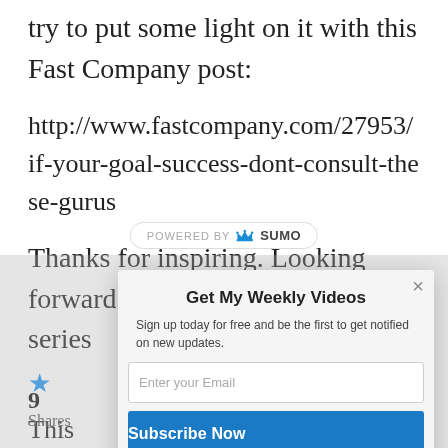try to put some light on it with this Fast Company post:
http://www.fastcompany.com/27953/if-your-goal-success-dont-consult-these-gurus
Thanks for inspiring. Looking forward your nest post in the jedi series
[Figure (screenshot): Sumo 'Powered by SUMO' banner with crown logo]
[Figure (screenshot): Modal popup: 'Get My Weekly Videos' with email input and Subscribe Now button]
★
This
9
Shares